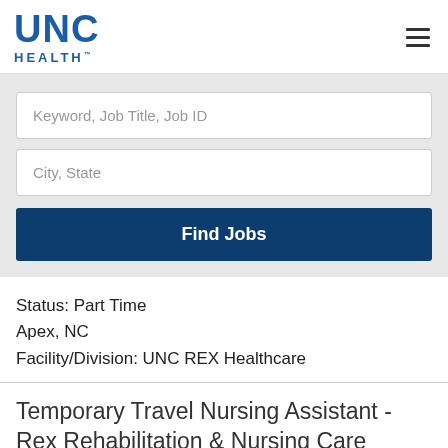[Figure (logo): UNC Health logo in blue]
Keyword, Job Title, Job ID
City, State
Find Jobs
Status: Part Time
Apex, NC
Facility/Division: UNC REX Healthcare
Temporary Travel Nursing Assistant - Rex Rehabilitation & Nursing Care Center of Apex
Status: Temporary Full Time